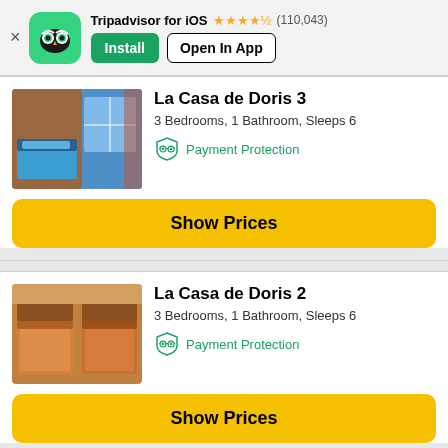Tripadvisor for iOS ★★★★½ (110,043) — Install / Open In App banner
La Casa de Doris 3
3 Bedrooms, 1 Bathroom, Sleeps 6
Payment Protection
Show Prices
La Casa de Doris 2
3 Bedrooms, 1 Bathroom, Sleeps 6
Payment Protection
Show Prices